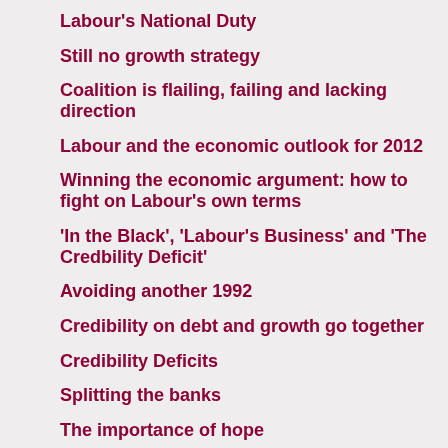Labour's National Duty
Still no growth strategy
Coalition is flailing, failing and lacking direction
Labour and the economic outlook for 2012
Winning the economic argument: how to fight on Labour's own terms
'In the Black', 'Labour's Business' and 'The Credbility Deficit'
Avoiding another 1992
Credibility on debt and growth go together
Credibility Deficits
Splitting the banks
The importance of hope
Banks, media, power
The other great crisis
Consensus not the same as doing the